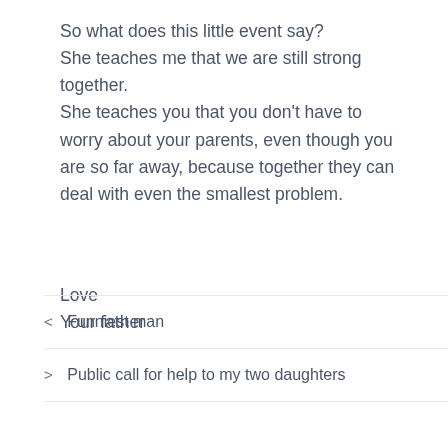So what does this little event say?
She teaches me that we are still strong together.
She teaches you that you don't have to worry about your parents, even though you are so far away, because together they can deal with even the smallest problem.
Love
Your father
< Funniest man
> Public call for help to my two daughters